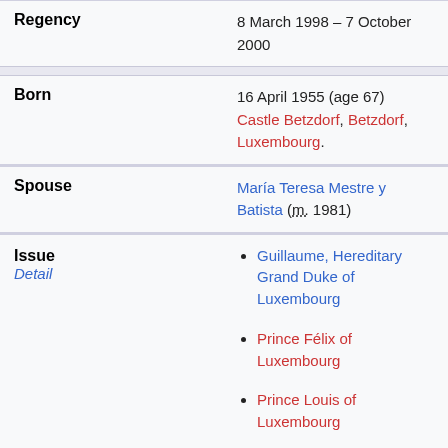| Field | Value |
| --- | --- |
| Regency | 8 March 1998 – 7 October 2000 |
| Born | 16 April 1955 (age 67)
Castle Betzdorf, Betzdorf, Luxembourg. |
| Spouse | María Teresa Mestre y Batista (m. 1981) |
| Issue
Detail | • Guillaume, Hereditary Grand Duke of Luxembourg
• Prince Félix of Luxembourg
• Prince Louis of Luxembourg
• Princess Alexandra of Luxembourg |